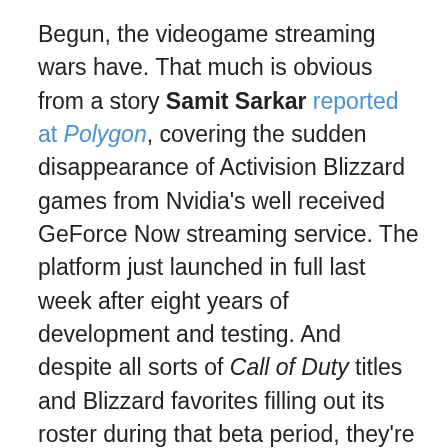Begun, the videogame streaming wars have. That much is obvious from a story Samit Sarkar reported at Polygon, covering the sudden disappearance of Activision Blizzard games from Nvidia's well received GeForce Now streaming service. The platform just launched in full last week after eight years of development and testing. And despite all sorts of Call of Duty titles and Blizzard favorites filling out its roster during that beta period, they're now no longer available for GeForce Now users to stream. As Nvidia itself said, and anyone who's ever subscribed to Netfilx knows, running a streaming service adding new stuff all the time but also removing titles when deals fall through. The timing of this particular publisher leaving Now is a bit convenient, though, considering, as Samit points out, Activision just signed a high-profile deal with Google for esports streaming rights and cloud infrastructure